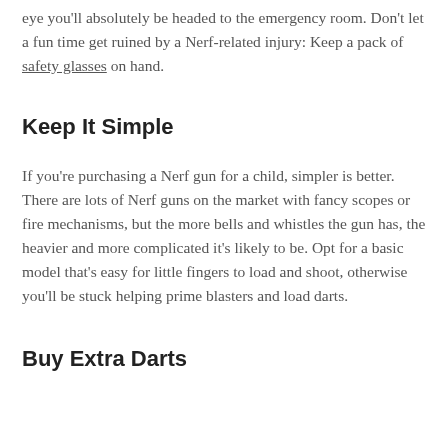eye you'll absolutely be headed to the emergency room. Don't let a fun time get ruined by a Nerf-related injury: Keep a pack of safety glasses on hand.
Keep It Simple
If you're purchasing a Nerf gun for a child, simpler is better. There are lots of Nerf guns on the market with fancy scopes or fire mechanisms, but the more bells and whistles the gun has, the heavier and more complicated it's likely to be. Opt for a basic model that's easy for little fingers to load and shoot, otherwise you'll be stuck helping prime blasters and load darts.
Buy Extra Darts